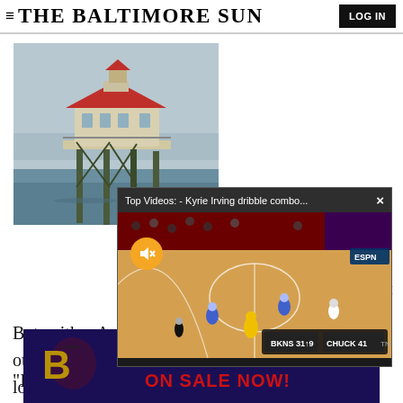≡ THE BALTIMORE SUN   LOG IN
[Figure (photo): Lighthouse on water with overcast sky — Choptank River Lighthouse or similar Chesapeake Bay lighthouse on wooden pilings]
[Figure (screenshot): Video overlay popup: 'Top Videos: - Kyrie Irving dribble combo...' with X close button; video shows basketball game on red court with players; yellow mute button visible]
But neither Anderson nor the program would rule out Edsall's nine-member staff, which Maryland lost its last eight games.
"I am probably one of the people who hates to lose
ADVERTISEMENT
[Figure (photo): Baltimore Ravens advertisement banner: Ravens logo on left, 'SINGLE-GAME TICKETS ON SALE NOW!' text on dark purple/blue background]